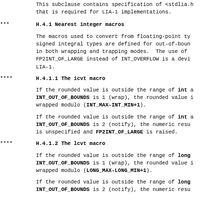This subclause contains specification of <stdlia.h> that is required for LIA-1 implementations.
*** H.4.1 Nearest integer macros
The macros used to convert from floating-point types to signed integral types are defined for out-of-bounds values in both wrapping and trapping modes. The use of FP2INT_OF_LARGE instead of INT_OVERFLOW is a deviation from LIA-1.
**** H.4.1.1 The icvt macro
If the rounded value is outside the range of int and INT_OUT_OF_BOUNDS is 1 (wrap), the rounded value is wrapped modulo (INT_MAX-INT_MIN+1).
If the rounded value is outside the range of int and INT_OUT_OF_BOUNDS is 2 (notify), the numeric result is unspecified and FP2INT_OF_LARGE is raised.
**** H.4.1.2 The lcvt macro
If the rounded value is outside the range of long and INT_OUT_OF_BOUNDS is 1 (wrap), the rounded value is wrapped modulo (LONG_MAX-LONG_MIN+1).
If the rounded value is outside the range of long and INT_OUT_OF_BOUNDS is 2 (notify), the numeric result...